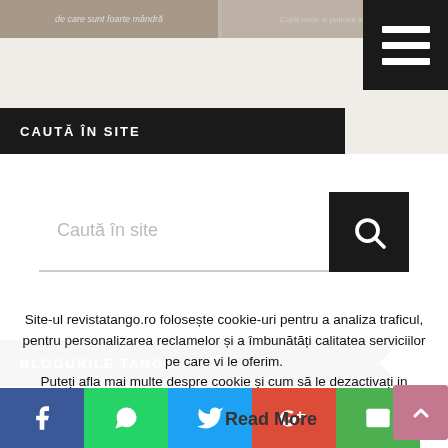[Figure (screenshot): Top image strip showing partially visible magazine/blog article images]
[Figure (other): Hamburger menu button (three white horizontal lines on black background)]
CAUTĂ ÎN SITE
Caută în site
BLOGURILE TANGO
[Figure (photo): Avatar photo of a person with reddish/auburn hair]
Frumusețea vine din cer, din drum,
Site-ul revistatango.ro folosește cookie-uri pentru a analiza traficul, pentru personalizarea reclamelor și a îmbunătăți calitatea serviciilor pe care vi le oferim.
Puteți afla mai multe despre cookie și cum să le dezactivați in secțiunea setări.
Read More